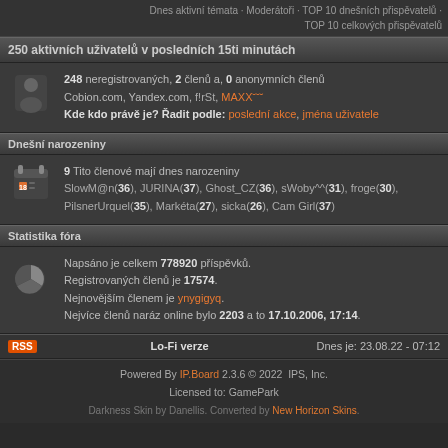Dnes aktivní témata · Moderátoři · TOP 10 dnešních přispěvatelů · TOP 10 celkových přispěvatelů
250 aktivních uživatelů v posledních 15ti minutách
248 neregistrovaných, 2 členů a, 0 anonymních členů
Cobion.com, Yandex.com, f!rSt, MAXX˘˘˘
Kde kdo právě je? Řadit podle: poslední akce, jména uživatele
Dnešní narozeniny
9 Tito členové mají dnes narozeniny
SlowM@n(36), JURINA(37), Ghost_CZ(36), sWoby^^(31), froge(30), PilsnerUrquel(35), Markéta(27), sicka(26), Cam Girl(37)
Statistika fóra
Napsáno je celkem 778920 příspěvků.
Registrovaných členů je 17574.
Nejnovějším členem je ynygigyq.
Nejvíce členů naráz online bylo 2203 a to 17.10.2006, 17:14.
RSS  Lo-Fi verze  Dnes je: 23.08.22 - 07:12
Powered By IP.Board 2.3.6 © 2022  IPS, Inc.
Licensed to: GamePark
Darkness Skin by Danellis. Converted by New Horizon Skins.